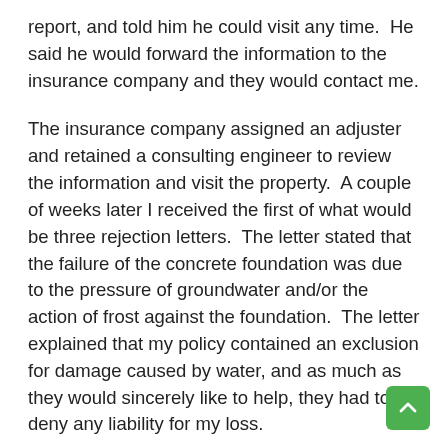report, and told him he could visit any time.  He said he would forward the information to the insurance company and they would contact me.
The insurance company assigned an adjuster and retained a consulting engineer to review the information and visit the property.  A couple of weeks later I received the first of what would be three rejection letters.  The letter stated that the failure of the concrete foundation was due to the pressure of groundwater and/or the action of frost against the foundation.  The letter explained that my policy contained an exclusion for damage caused by water, and as much as they would sincerely like to help, they had to deny any liability for my loss.
Picture this – there were eighth to half-inch wide cracks that went clear through the foundation walls to the soil on the other side.  Lots of them. Yet not a drop of water had ever come through those cracks.  The insurer's engineer